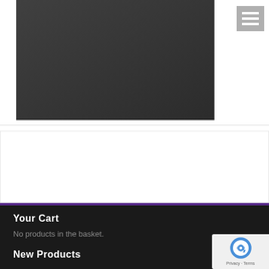[Figure (photo): Dark background banner image with bold white serif text reading 'RESELLER PARTNERS' over a blurred office/desk background]
[Figure (screenshot): Hamburger/menu icon button — three horizontal white bars on a gray square background]
Contact Accepta
Your Cart
No products in the basket.
New Products
[Figure (logo): reCAPTCHA badge with blue/gray robot icon and 'Privacy - Terms' text]